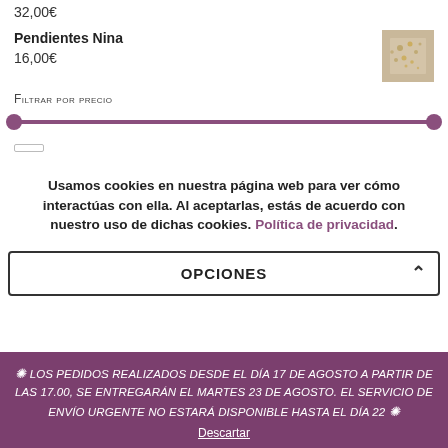32,00€
Pendientes Nina
16,00€
[Figure (photo): Small thumbnail image of gold earrings (Pendientes Nina product photo)]
Filtrar por precio
Cookie notice: Usamos cookies en nuestra página web para ver cómo interactúas con ella. Al aceptarlas, estás de acuerdo con nuestro uso de dichas cookies. Política de privacidad.
OPCIONES
✺ LOS PEDIDOS REALIZADOS DESDE EL DÍA 17 DE AGOSTO A PARTIR DE LAS 17.00, SE ENTREGARÁN EL MARTES 23 DE AGOSTO. EL SERVICIO DE ENVÍO URGENTE NO ESTARÁ DISPONIBLE HASTA EL DÍA 22 ✺
Descartar